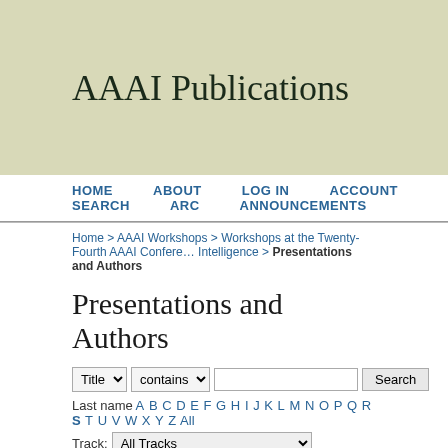AAAI Publications
HOME | ABOUT | LOG IN | ACCOUNT | SEARCH | ARC | ANNOUNCEMENTS
Home > AAAI Workshops > Workshops at the Twenty-Fourth AAAI Conference on Artificial Intelligence > Presentations and Authors
Presentations and Authors
Search form with Title/contains filter and alphabet last name navigation. Track: All Tracks
Bridging the Gap between Task and Motion Planning
Motion Planning Algorithms for Autonomous Intersection Management
Tsz-Chiu Au, Peter Stone